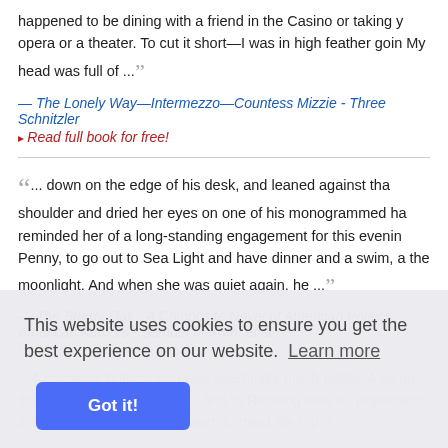happened to be dining with a friend in the Casino or taking you to the opera or a theater. To cut it short—I was in high feather going home. My head was full of ...
— The Lonely Way—Intermezzo—Countess Mizzie - Three Plays by Arthur Schnitzler
▸ Read full book for free!
... down on the edge of his desk, and leaned against that shoulder and dried her eyes on one of his monogrammed handkerchiefs. reminded her of a long-standing engagement for this evening with Penny, to go out to Sea Light and have dinner and a swim, and the moonlight. And when she was quiet again, he ...
— The Sturdy Oak - A Composite Novel of American Politics
American Authors • Samuel Merwin, et al.
This website uses cookies to ensure you get the best experience on our website. Learn more
Got it!
... for several bottles, and was seemingly much better. A sp on the same train had taken us first to Redding took us physicians in attendance. He did not seem to mind the trip o ...